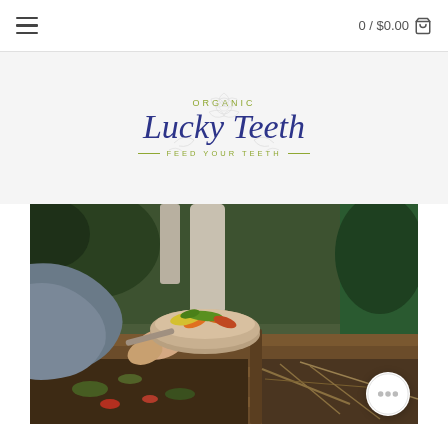0 / $0.00 🛒
[Figure (logo): Organic Lucky Teeth logo with script text and decorative swirl, tagline: FEED YOUR TEETH]
[Figure (photo): A person in a grey sweatshirt holding a metal bowl filled with colorful vegetable scraps (carrots, celery, peppers) over a wooden compost bin filled with soil and organic material, with a lush garden in the background.]